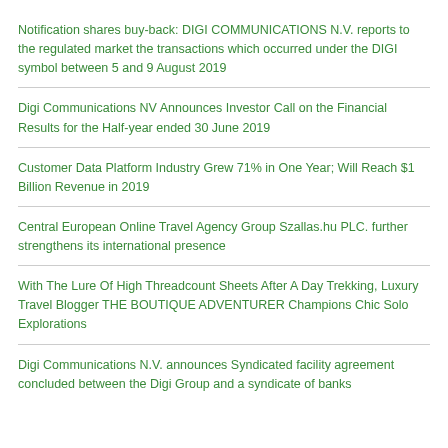Notification shares buy-back: DIGI COMMUNICATIONS N.V. reports to the regulated market the transactions which occurred under the DIGI symbol between 5 and 9 August 2019
Digi Communications NV Announces Investor Call on the Financial Results for the Half-year ended 30 June 2019
Customer Data Platform Industry Grew 71% in One Year; Will Reach $1 Billion Revenue in 2019
Central European Online Travel Agency Group Szallas.hu PLC. further strengthens its international presence
With The Lure Of High Threadcount Sheets After A Day Trekking, Luxury Travel Blogger THE BOUTIQUE ADVENTURER Champions Chic Solo Explorations
Digi Communications N.V. announces Syndicated facility agreement concluded between the Digi Group and a syndicate of banks